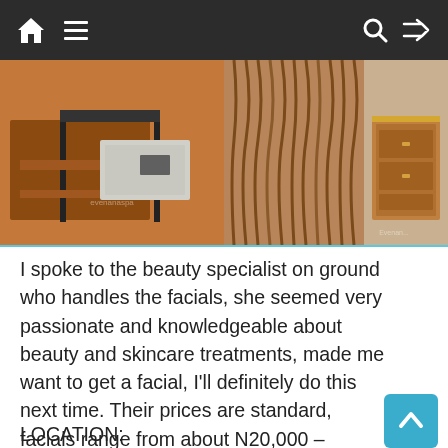[Figure (screenshot): Website navigation bar with home icon, hamburger menu on left; search and shuffle icons on right, dark background]
[Figure (photo): Two spa interior photos side by side: left shows wooden furniture/reception desk; right shows wavy slatted wooden wall panel and wooden cabinet]
I spoke to the beauty specialist on ground who handles the facials, she seemed very passionate and knowledgeable about beauty and skincare treatments, made me want to get a facial, I'll definitely do this next time. Their prices are standard, facials range from about N20,000 – N35,000.
Again Evenanaspa caters to both men and women. They offer other services such as waxing, threading, Hammam and various body scrubs
LOCATION: Hell...